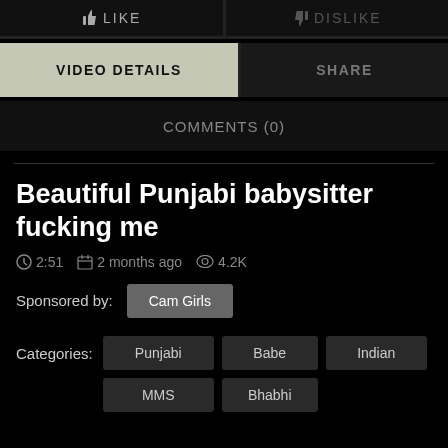[Figure (screenshot): Top bar with LIKE and DISLIKE buttons on dark background]
VIDEO DETAILS
SHARE
COMMENTS (0)
Beautiful Punjabi babysitter fucking me
2:51  2 months ago  4.2K
Sponsored by:  Cam Girls
Categories:  Punjabi  Babe  Indian  MMS  Bhabhi